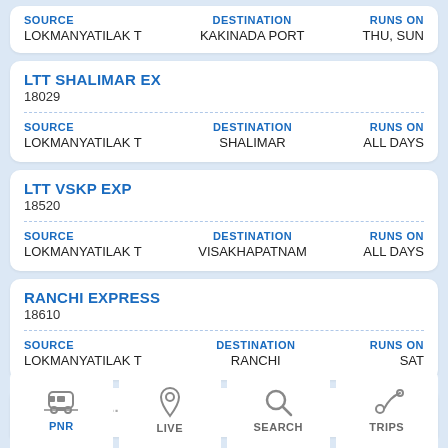SOURCE: LOKMANYATILAK T | DESTINATION: KAKINADA PORT | RUNS ON: THU, SUN
LTT SHALIMAR EX
18029
SOURCE: LOKMANYATILAK T | DESTINATION: SHALIMAR | RUNS ON: ALL DAYS
LTT VSKP EXP
18520
SOURCE: LOKMANYATILAK T | DESTINATION: VISAKHAPATNAM | RUNS ON: ALL DAYS
RANCHI EXPRESS
18610
SOURCE: LOKMANYATILAK T | DESTINATION: RANCHI | RUNS ON: SAT
RAJANI EX...
12...
PNR | LIVE | SEARCH | TRIPS